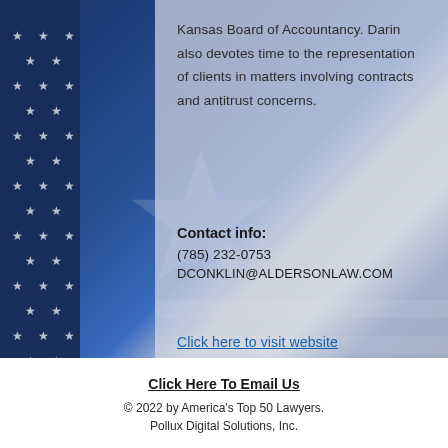Kansas Board of Accountancy. Darin also devotes time to the representation of clients in matters involving contracts and antitrust concerns.
Contact info:
(785) 232-0753
DCONKLIN@ALDERSONLAW.COM
Click here to visit website
Click Here To Email Us
© 2022 by America's Top 50 Lawyers. Pollux Digital Solutions, Inc.